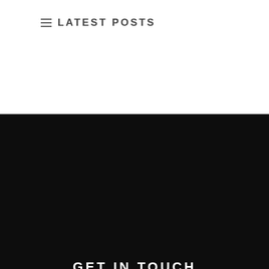LATEST POSTS
GET IN TOUCH
Recover Integrity Addiction Treatment Center is Located at:
12301 Wilshire Blvd, #206, Los Angeles, CA 90025
Call: 310.294.9030